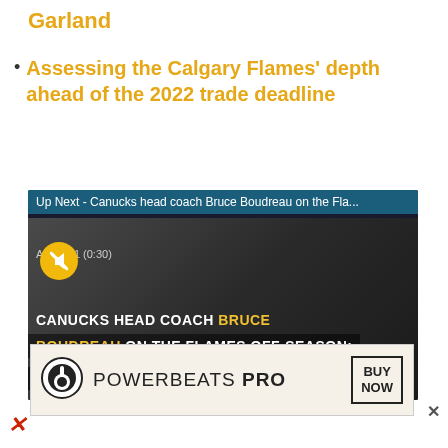Garland
Assessing the Calgary Flames' depth ahead of the 2022 trade deadline
[Figure (screenshot): Video player showing 'Up Next - Canucks head coach Bruce Boudreau on the Fla...' with ad label 'Ad 1 of 1 (0:30)', mute button, and caption text: 'CANUCKS HEAD COACH BRUCE BOUDREAU ON THE FLAMES OFF-SEASON: I DON'T THINK CALGARY GOT WORSE']
[Figure (screenshot): Powerbeats Pro advertisement banner with Beats logo, text 'POWERBEATS PRO' and 'BUY NOW' button]